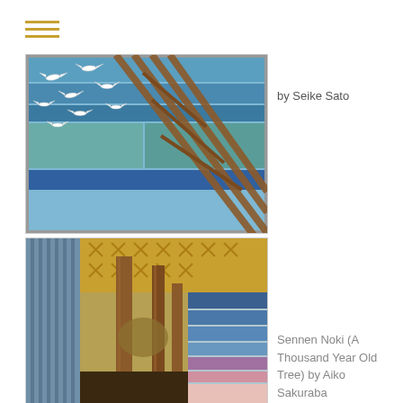[Figure (photo): Quilt artwork featuring flying cranes on a blue patchwork background with a diagonal brown lattice/bridge structure]
by Seike Sato
[Figure (photo): Quilt artwork titled Sennen Noki (A Thousand Year Old Tree) showing tall brown tree trunks against patterned fabrics in blue, gold, and multi-colored sections]
Sennen Noki (A Thousand Year Old Tree) by Aiko Sakuraba